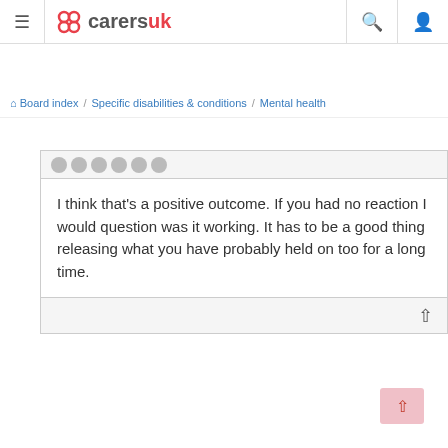carersuk — Board index / Specific disabilities & conditions / Mental health
I think that's a positive outcome. If you had no reaction I would question was it working. It has to be a good thing releasing what you have probably held on too for a long time.
Re: Is it normal to cry after therapy?
Penny • Member — Thu Feb 03, 2022 5:51 pm